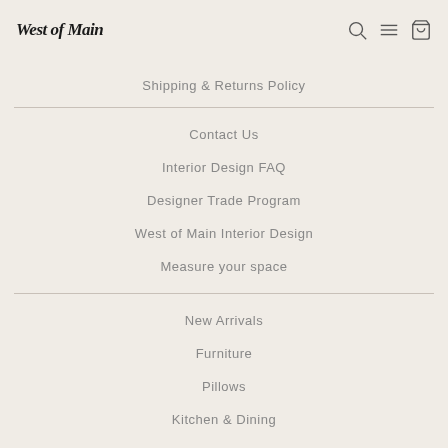West of Main [logo] [search icon] [menu icon] [cart icon]
Shipping & Returns Policy
Contact Us
Interior Design FAQ
Designer Trade Program
West of Main Interior Design
Measure your space
New Arrivals
Furniture
Pillows
Kitchen & Dining